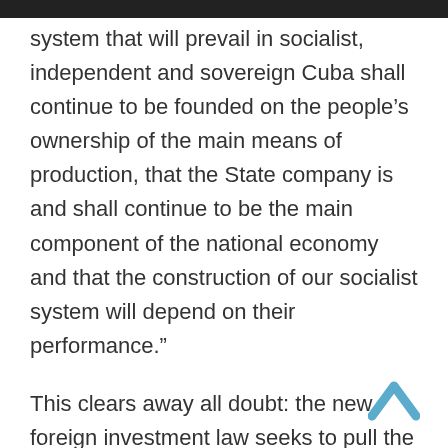system that will prevail in socialist, independent and sovereign Cuba shall continue to be founded on the people’s ownership of the main means of production, that the State company is and shall continue to be the main component of the national economy and that the construction of our socialist system will depend on their performance.”
This clears away all doubt: the new foreign investment law seeks to pull the Cuban State’s monopolistic capitalist economy from its fatal crisis. That